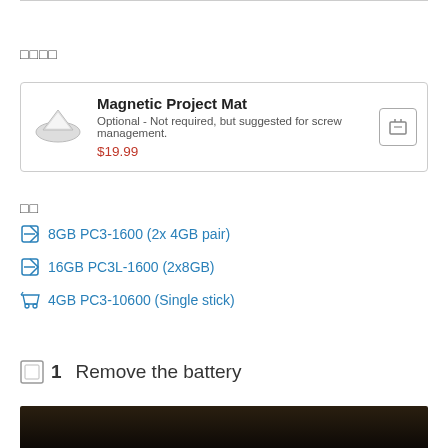□□□□
| Magnetic Project Mat | Optional - Not required, but suggested for screw management. | $19.99 |
□□
8GB PC3-1600 (2x 4GB pair)
16GB PC3L-1600 (2x8GB)
4GB PC3-10600 (Single stick)
□□ 1    Remove the battery
[Figure (photo): Bottom of a laptop, dark background, beginning of a step to remove battery]